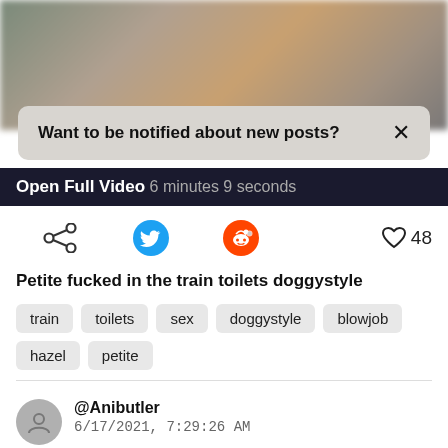[Figure (photo): Blurred background image at top of page]
Want to be notified about new posts? ×
Open Full Video 6 minutes 9 seconds
[Figure (infographic): Share icons row: share icon, Twitter bird icon, Reddit alien icon, heart with count 48]
Petite fucked in the train toilets doggystyle
train
toilets
sex
doggystyle
blowjob
hazel
petite
@Anibutler
6/17/2021, 7:29:26 AM
[Figure (photo): Blurred blue-grey background image at bottom of page]